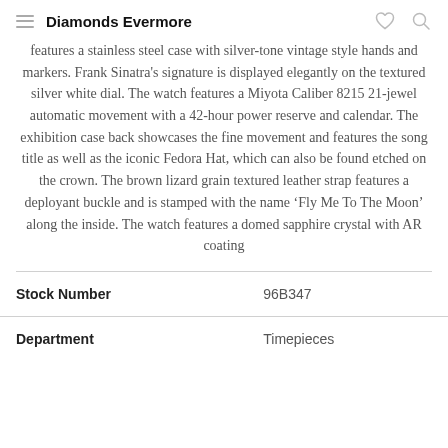Diamonds Evermore
features a stainless steel case with silver-tone vintage style hands and markers. Frank Sinatra's signature is displayed elegantly on the textured silver white dial. The watch features a Miyota Caliber 8215 21-jewel automatic movement with a 42-hour power reserve and calendar. The exhibition case back showcases the fine movement and features the song title as well as the iconic Fedora Hat, which can also be found etched on the crown. The brown lizard grain textured leather strap features a deployant buckle and is stamped with the name ‘Fly Me To The Moon’ along the inside. The watch features a domed sapphire crystal with AR coating
| Stock Number | 96B347 |
| --- | --- |
| Department | Timepieces |